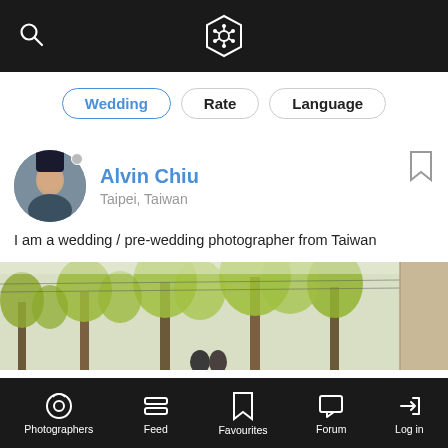Wedding / Rate / Language filter bar with search and logo
Wedding
Rate
Language
Alvin Chiu
Taipei, Taiwan
I am a wedding / pre-wedding photographer from Taiwan
[Figure (photo): Pre-wedding photo showing a couple under tall green tree canopy, outdoor spring scene with bare and leafy trees]
Photographers | Feed | Favourites | Forum | Log in